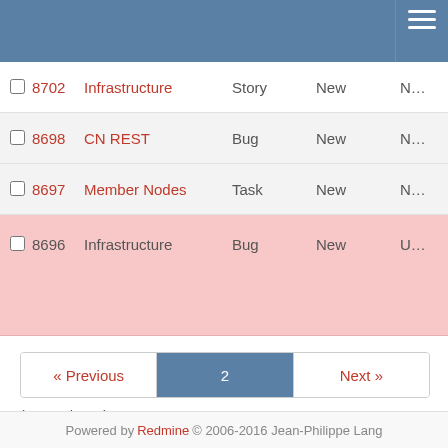|  | # | Project | Tracker | Status |  |
| --- | --- | --- | --- | --- | --- |
|  | 8702 | Infrastructure | Story | New | N... |
|  | 8698 | CN REST | Bug | New | N... |
|  | 8697 | Member Nodes | Task | New | N... |
|  | 8696 | Infrastructure | Bug | New | U... |
« Previous  2  Next »
(51-100/1153) Per page: 25, 50, 100, 500
Also available in: Atom | CSV | PDF
Powered by Redmine © 2006-2016 Jean-Philippe Lang